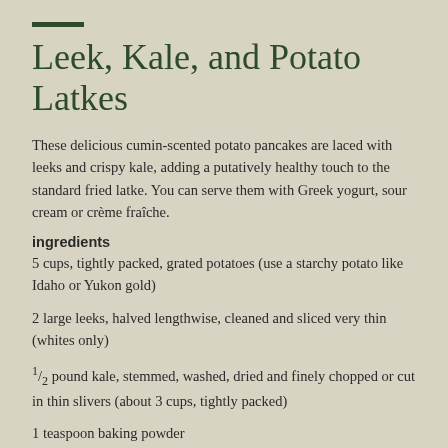Leek, Kale, and Potato Latkes
These delicious cumin-scented potato pancakes are laced with leeks and crispy kale, adding a putatively healthy touch to the standard fried latke. You can serve them with Greek yogurt, sour cream or crème fraîche.
ingredients
5 cups, tightly packed, grated potatoes (use a starchy potato like Idaho or Yukon gold)
2 large leeks, halved lengthwise, cleaned and sliced very thin (whites only)
½ pound kale, stemmed, washed, dried and finely chopped or cut in thin slivers (about 3 cups, tightly packed)
1 teaspoon baking powder